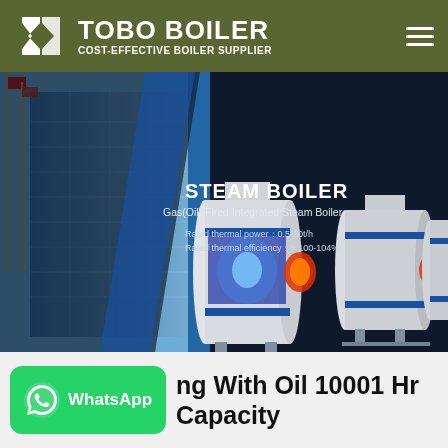TOBO BOILER — COST-EFFECTIVE BOILER SUPPLIER
[Figure (screenshot): Website hero banner showing Gas(Oil) Fired Integrated Steam Boiler products on dark background with building photo on left side. Text: STEAM BOILER, Gas(Oil) Fired Integrated Steam Boiler, Rated thermal power: 0.5-20t/h, Rated thermal efficiency: > 100-104%]
[Figure (logo): WhatsApp green button with phone icon and text WhatsApp]
ing With Oil 10001 Hr Capacity